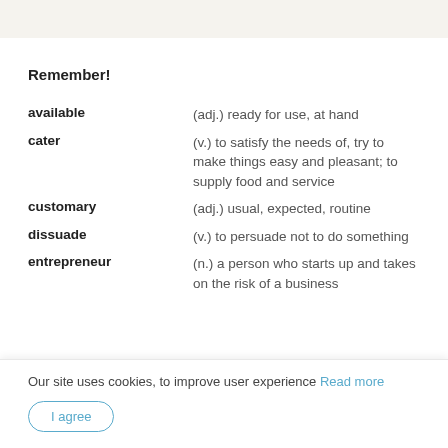Remember!
available — (adj.) ready for use, at hand
cater — (v.) to satisfy the needs of, try to make things easy and pleasant; to supply food and service
customary — (adj.) usual, expected, routine
dissuade — (v.) to persuade not to do something
entrepreneur — (n.) a person who starts up and takes on the risk of a business
Our site uses cookies, to improve user experience Read more
I agree